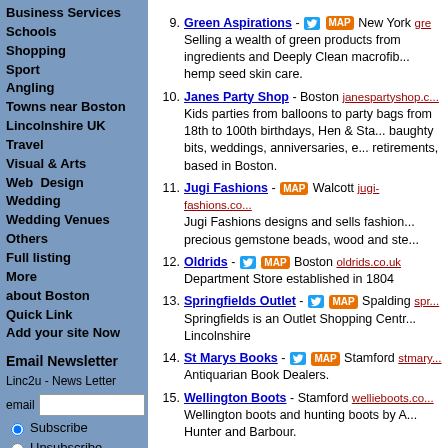Business Services
Schools
Shopping
Sport
Angling
Towns near Boston
Lincolnshire UK
Travel
Visual & Arts
Web Design
Wedding
Wedding Venues
Others
Full listing
More
about Boston
Quick Link
Add your site Now
Email Newsletter
Linc2u - News Letter
email [input]
[Subscribe radio] Subscribe
[Unsubscribe radio] Unsubscribe
[Add / Update button]
9. Green Aspirations - New York gre... Selling a wealth of green products from ingredients and Deeply Clean macrofibre hemp seed skin care.
10. Janes Party Shop - Boston janespartyshop.c... Kids parties from balloons to party bags from 18th to 100th birthdays, Hen & Sta... baughty bits, weddings, anniversaries, e... retirements, based in Boston.
11. Jugi Fashions - MAP Walcott jugi-fashions.co... Jugi Fashions designs and sells fashion... precious gemstone beads, wood and ste...
12. Oldrids - Boston oldrids.co.uk Department Store established in 1804
13. Springfields Outlet - Spalding spr... Springfields is an Outlet Shopping Centr... Lincolnshire
14. St Marys Books - Stamford stmary... Antiquarian Book Dealers.
15. Wellington Boots - Stamford wellieboots.co... Wellington boots and hunting boots by A... Hunter and Barbour.